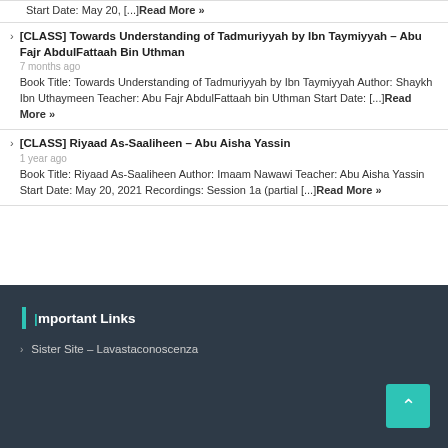Start Date: May 20, [...]Read More »
[CLASS] Towards Understanding of Tadmuriyyah by Ibn Taymiyyah – Abu Fajr AbdulFattaah Bin Uthman
7 months ago
Book Title: Towards Understanding of Tadmuriyyah by Ibn Taymiyyah Author: Shaykh Ibn Uthaymeen Teacher: Abu Fajr AbdulFattaah bin Uthman Start Date: [...]Read More »
[CLASS] Riyaad As-Saaliheen – Abu Aisha Yassin
1 year ago
Book Title: Riyaad As-Saaliheen Author: Imaam Nawawi Teacher: Abu Aisha Yassin Start Date: May 20, 2021 Recordings: Session 1a (partial [...]Read More »
Important Links
Sister Site – Lavastaconoscenza